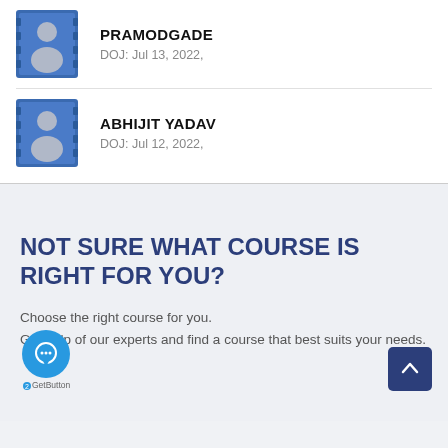[Figure (illustration): User avatar icon – blue square with silhouette for PRAMODGADE]
PRAMODGADE
DOJ: Jul 13, 2022,
[Figure (illustration): User avatar icon – blue square with silhouette for ABHIJIT YADAV]
ABHIJIT YADAV
DOJ: Jul 12, 2022,
NOT SURE WHAT COURSE IS RIGHT FOR YOU?
Choose the right course for you.
Get help of our experts and find a course that best suits your needs.